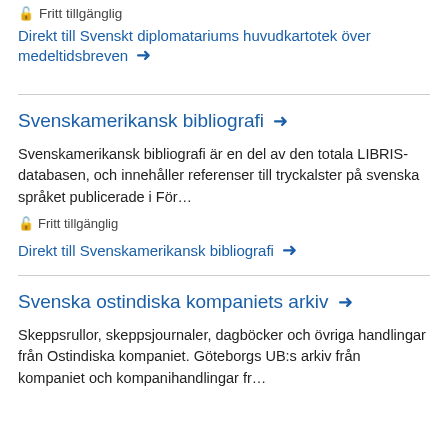Fritt tillgänglig
Direkt till Svenskt diplomatariums huvudkartotek över medeltidsbreven →
Svenskamerikansk bibliografi →
Svenskamerikansk bibliografi är en del av den totala LIBRIS-databasen, och innehåller referenser till tryckalster på svenska språket publicerade i För…
Fritt tillgänglig
Direkt till Svenskamerikansk bibliografi →
Svenska ostindiska kompaniets arkiv →
Skeppsrullor, skeppsjournaler, dagböcker och övriga handlingar från Ostindiska kompaniet. Göteborgs UB:s arkiv från kompaniet och kompanihandlingar fr…